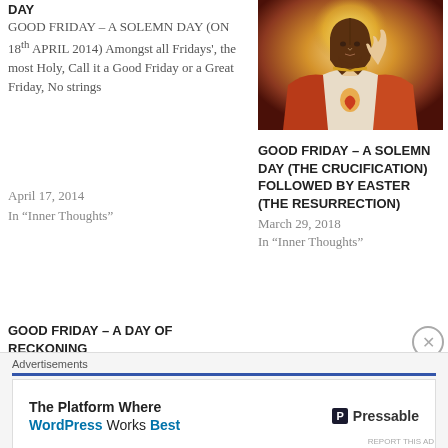DAY
GOOD FRIDAY – A SOLEMN DAY (ON 18th APRIL 2014) Amongst all Fridays', the most Holy, Call it a Good Friday or a Great Friday, No strings
April 17, 2014
In "Inner Thoughts"
[Figure (photo): Religious painting of Jesus Christ with sacred heart, wearing white and red robes, with a golden halo]
GOOD FRIDAY – A SOLEMN DAY (THE CRUCIFICATION) FOLLOWED BY EASTER (THE RESURRECTION)
March 29, 2018
In "Inner Thoughts"
GOOD FRIDAY – A DAY OF RECKONING
April 18, 2019
In "Inner Thoughts"
Advertisements
The Platform Where WordPress Works Best — Pressable